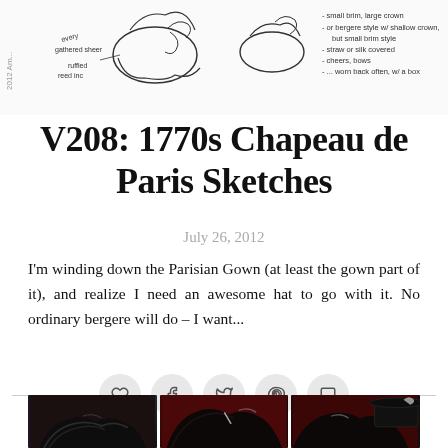[Figure (illustration): Hand-drawn sketch of 1770s chapeau de Paris hat with handwritten notes describing features: small brim, large crown, bergere style or shallow crown, flat small brim style, straw or silk covered, cheers, bows, worn back often, w/ a box]
V208: 1770s Chapeau de Paris Sketches
July 26, 2012
I'm winding down the Parisian Gown (at least the gown part of it), and realize I need an awesome hat to go with it. No ordinary bergere will do – I want...
[Figure (illustration): Social sharing buttons row: heart (like), Facebook, Twitter, Pinterest, and comment icons in circular grey buttons]
[Figure (photo): Three side-by-side photos of a person with dark styled hair, shown from different angles against a red background, with a black hat visible in the rightmost photo]